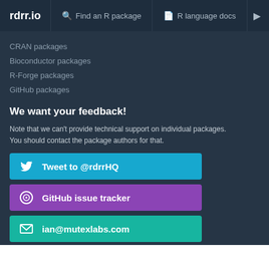rdrr.io   Find an R package   R language docs
CRAN packages
Bioconductor packages
R-Forge packages
GitHub packages
We want your feedback!
Note that we can't provide technical support on individual packages. You should contact the package authors for that.
Tweet to @rdrrHQ
GitHub issue tracker
ian@mutexlabs.com
Personal blog